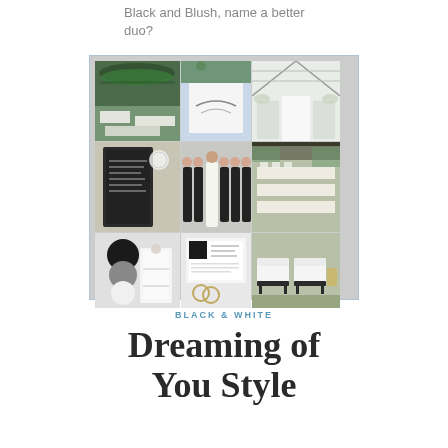Black and Blush, name a better duo?
[Figure (photo): Wedding mood board collage showing black and white themed wedding: tent with greenery, white signage, greenhouse aisle, wedding party in black and white attire, outdoor reception tables, mirror sign, white cake, stationery, white lounge chairs]
BLACK & WHITE
Dreaming of You Style